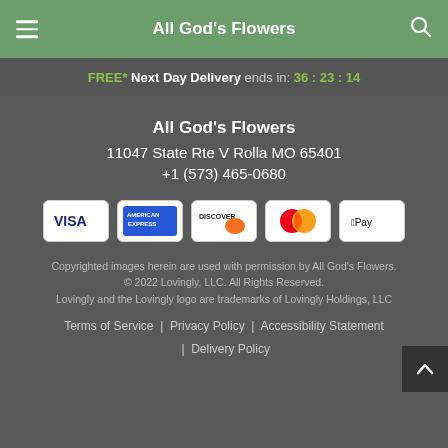All God's Flowers
FREE* Next Day Delivery ends in: 36:23:14
All God's Flowers
11047 State Rte V Rolla MO 65401
+1 (573) 465-0680
[Figure (infographic): Payment method icons: Visa, American Express, Discover, Mastercard, Apple Pay]
Copyrighted images herein are used with permission by All God's Flowers.
© 2022 Lovingly, LLC. All Rights Reserved.
Lovingly and the Lovingly logo are trademarks of Lovingly Holdings, LLC
Terms of Service | Privacy Policy | Accessibility Statement | Delivery Policy